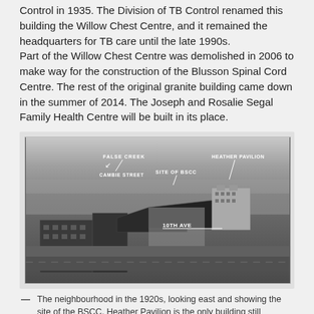Control in 1935. The Division of TB Control renamed this building the Willow Chest Centre, and it remained the headquarters for TB care until the late 1990s. Part of the Willow Chest Centre was demolished in 2006 to make way for the construction of the Blusson Spinal Cord Centre. The rest of the original granite building came down in the summer of 2014. The Joseph and Rosalie Segal Family Health Centre will be built in its place.
[Figure (photo): Black and white aerial photograph of the neighbourhood in the 1920s, looking east, showing the site of the BSCC with labels for False Creek, Cambie Street, Site of BSCC, 10th Ave, and Heather Pavilion.]
The neighbourhood in the 1920s, looking east and showing the site of the BSCC. Heather Pavilion is the only building still standing. Photo courtesy of University of British Columbia Archives.